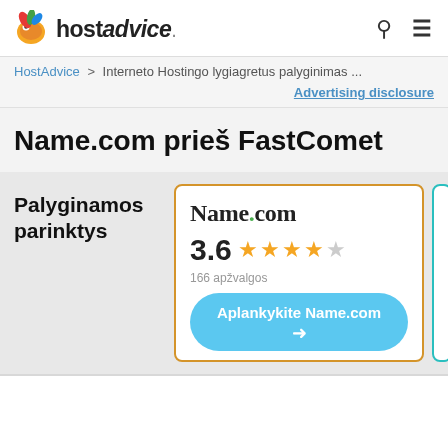hostadvice.
HostAdvice > Interneto Hostingo lygiagretus palyginimas ...
Advertising disclosure
Name.com prieš FastComet
Palyginamos parinktys
[Figure (screenshot): Name.com hosting card with 3.6 star rating (166 apžvalgos) and 'Aplankykite Name.com' button]